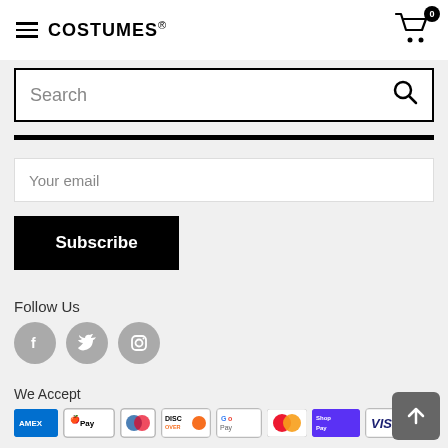COSTUMES (logo) — cart icon with 0 badge
Search
Your email
Subscribe
Follow Us
[Figure (infographic): Three social media icons: Facebook, Twitter, Instagram — grey circles with white icons]
We Accept
[Figure (infographic): Payment method logos: AMEX, Apple Pay, Diners Club, Discover, Google Pay, Mastercard, ShopPay, Visa]